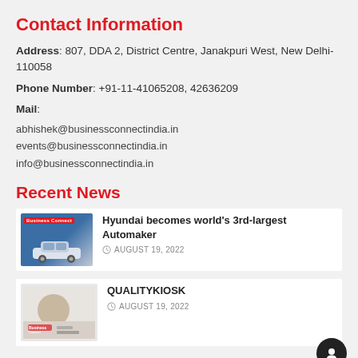Contact Information
Address: 807, DDA 2, District Centre, Janakpuri West, New Delhi-110058
Phone Number: +91-11-41065208, 42636209
Mail:
abhishek@businessconnectindia.in
events@businessconnectindia.in
info@businessconnectindia.in
Recent News
Hyundai becomes world's 3rd-largest Automaker
AUGUST 19, 2022
QUALITYKIOSK
AUGUST 19, 2022